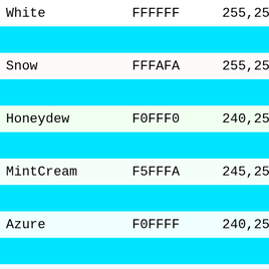| Color Name | Hex | RGB |
| --- | --- | --- |
| White | FFFFFF | 255,255,255 |
| Snow | FFFAFA | 255,250,250 |
| Honeydew | F0FFF0 | 240,255,240 |
| MintCream | F5FFFA | 245,255,250 |
| Azure | F0FFFF | 240,255,255 |
| AliceBlue | F0F8FF | 240,248,255 |
| GhostWhite | F8F8FF | 248,248,255 |
| WhiteSmoke | F5F5F5 | 245,245,245 |
| Seashell | FFF5EE | 255,245,238 |
| Beige | F5F5DC | 245,245,220 |